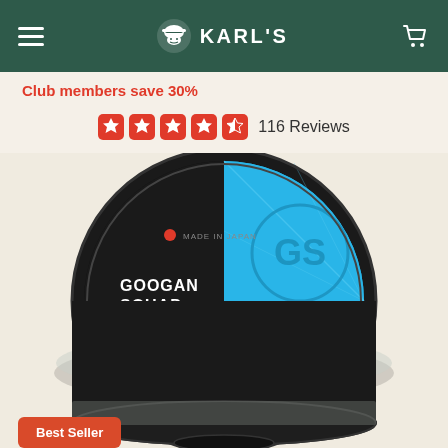KARL'S
Club members save 30%
[Figure (other): Star rating: 4.5 out of 5 stars, 116 Reviews]
116 Reviews
[Figure (photo): Googan Squad 100% Pure Fluorocarbon fishing line, 12lb, 200 yards, diameter 0.012 in / 0.295 mm. Made in Japan. Black and blue spool.]
Best Seller